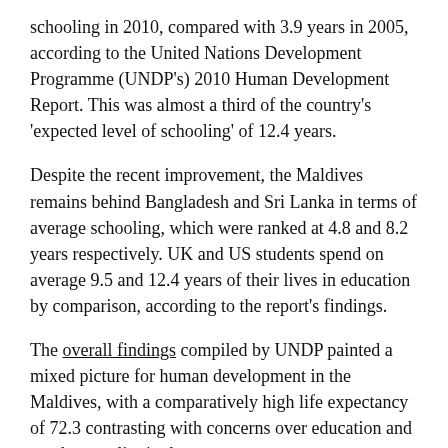schooling in 2010, compared with 3.9 years in 2005, according to the United Nations Development Programme (UNDP's) 2010 Human Development Report. This was almost a third of the country's 'expected level of schooling' of 12.4 years.
Despite the recent improvement, the Maldives remains behind Bangladesh and Sri Lanka in terms of average schooling, which were ranked at 4.8 and 8.2 years respectively. UK and US students spend on average 9.5 and 12.4 years of their lives in education by comparison, according to the report's findings.
The overall findings compiled by UNDP painted a mixed picture for human development in the Maldives, with a comparatively high life expectancy of 72.3 contrasting with concerns over education and gender equality in the country.